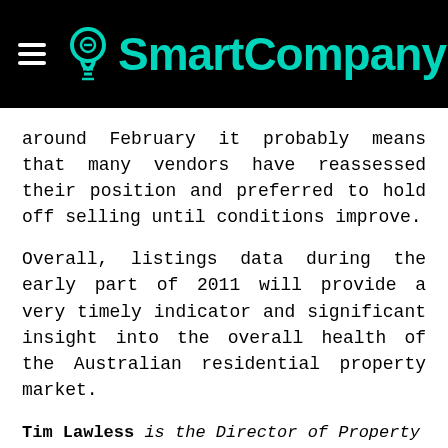SmartCompany
around February it probably means that many vendors have reassessed their position and preferred to hold off selling until conditions improve.
Overall, listings data during the early part of 2011 will provide a very timely indicator and significant insight into the overall health of the Australian residential property market.
Tim Lawless is the Director of Property Research at RP Data.
COMMENTS
Subscribe
Be the First to Comment!